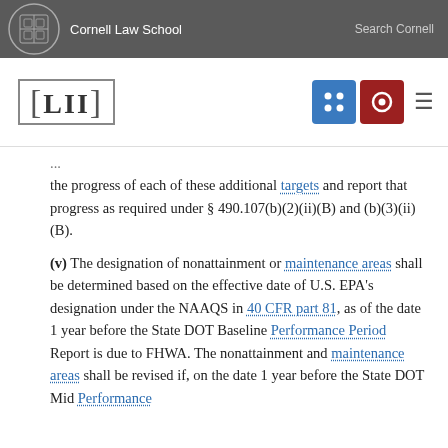Cornell Law School   Search Cornell
the progress of each of these additional targets and report that progress as required under § 490.107(b)(2)(ii)(B) and (b)(3)(ii)(B).
(v) The designation of nonattainment or maintenance areas shall be determined based on the effective date of U.S. EPA's designation under the NAAQS in 40 CFR part 81, as of the date 1 year before the State DOT Baseline Performance Period Report is due to FHWA. The nonattainment and maintenance areas shall be revised if, on the date 1 year before the State DOT Mid Performance...